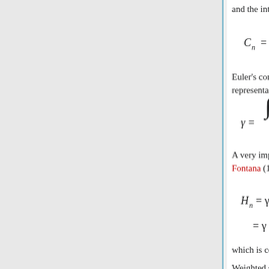and the integral representation
Euler's constant has the integral representations
A very important expansion of Gregorio Fontana (1780) is:
which is convergent for all n.
Weighted sums of the Gregory coefficients give different constants: